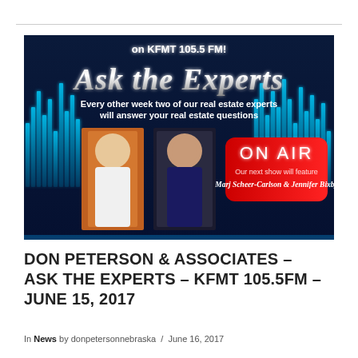[Figure (illustration): Promotional banner for 'Ask the Experts' radio show on KFMT 105.5 FM. Dark blue background with glowing blue equalizer bars. Large stylized silver text reads 'Ask the Experts'. Subtitle: 'Every other week two of our real estate experts will answer your real estate questions'. Two photos of women (real estate agents). Red 'ON AIR' badge with text: 'Our next show will feature Marj Scheer-Carlson & Jennifer Bixby'.]
DON PETERSON & ASSOCIATES – ASK THE EXPERTS – KFMT 105.5FM – JUNE 15, 2017
In News by donpetersonnebraska / June 16, 2017